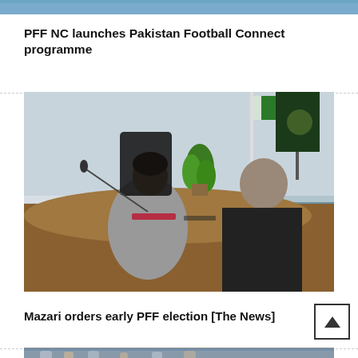[Figure (photo): Top colored image strip from previous article]
PFF NC launches Pakistan Football Connect programme
[Figure (photo): Two men sitting at a conference table in an office with Pakistani flags in the background]
Mazari orders early PFF election [The News]
[Figure (photo): Bottom strip showing a football/sports event with people in the background]